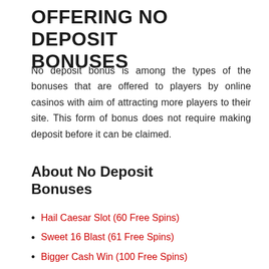OFFERING NO DEPOSIT BONUSES
No deposit bonus is among the types of the bonuses that are offered to players by online casinos with aim of attracting more players to their site. This form of bonus does not require making deposit before it can be claimed.
About No Deposit Bonuses
Hail Caesar Slot (60 Free Spins)
Sweet 16 Blast (61 Free Spins)
Bigger Cash Win (100 Free Spins)